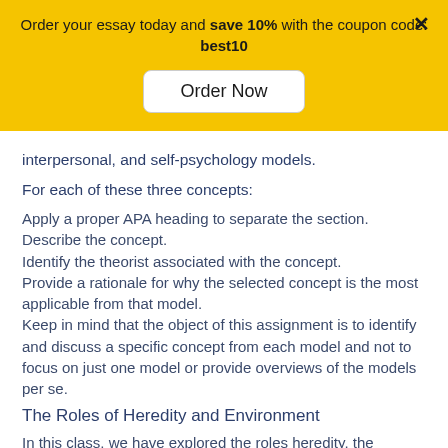Order your essay today and save 10% with the coupon code: best10
Order Now
interpersonal, and self-psychology models.
For each of these three concepts:
Apply a proper APA heading to separate the section.
Describe the concept.
Identify the theorist associated with the concept.
Provide a rationale for why the selected concept is the most applicable from that model.
Keep in mind that the object of this assignment is to identify and discuss a specific concept from each model and not to focus on just one model or provide overviews of the models per se.
The Roles of Heredity and Environment
In this class, we have explored the roles heredity, the